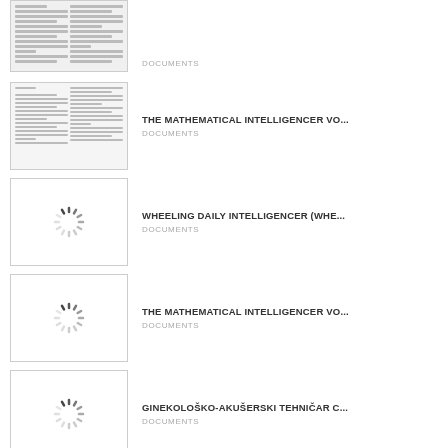[Figure (screenshot): Document thumbnail showing two-column text layout]
DOCUMENTS
THE MATHEMATICAL INTELLIGENCER VO...
DOCUMENTS
[Figure (screenshot): Loading spinner icon]
WHEELING DAILY INTELLIGENCER (WHE...
DOCUMENTS
[Figure (screenshot): Loading spinner icon]
THE MATHEMATICAL INTELLIGENCER VO...
DOCUMENTS
[Figure (screenshot): Loading spinner icon]
GINEKOLOSKO-AKUSERSKI TEHNICAR C...
DOCUMENTS